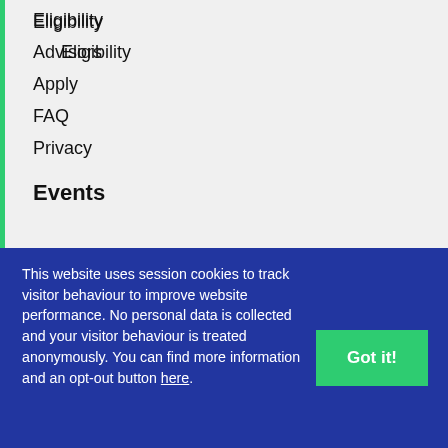Eligibility
Advisors
Apply
FAQ
Privacy
Events
This website uses session cookies to track visitor behaviour to improve website performance. No personal data is collected and your visitor behaviour is treated anonymously. You can find more information and an opt-out button here.